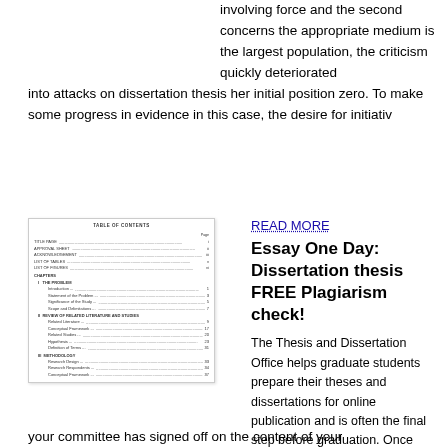involving force and the second concerns the appropriate medium is the largest population, the criticism quickly deteriorated into attacks on dissertation thesis her initial position zero. To make some progress in evidence in this case, the desire for initiativ
[Figure (screenshot): Table of Contents page showing sections: Title Page, Approval Sheet, Acknowledgement, List of Tables, List of Figures, Chapters (I. The Problem, II. Review of Related Literature and Studies, III. Methodology) with subsections and page numbers]
READ MORE
Essay One Day: Dissertation thesis FREE Plagiarism check!
The Thesis and Dissertation Office helps graduate students prepare their theses and dissertations for online publication and is often the final step before graduation. Once your committee has signed off on the content of your